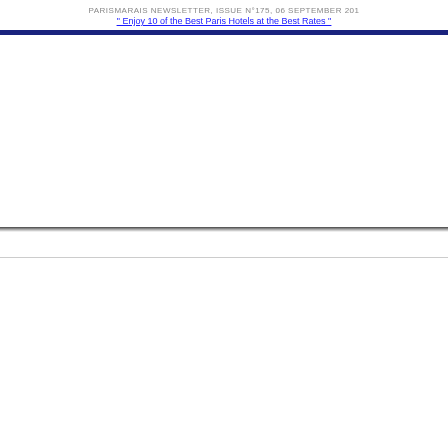PARISMARAIS NEWSLETTER, ISSUE N°175, 06 SEPTEMBER 201
" Enjoy 10 of the Best Paris Hotels at the Best Rates "